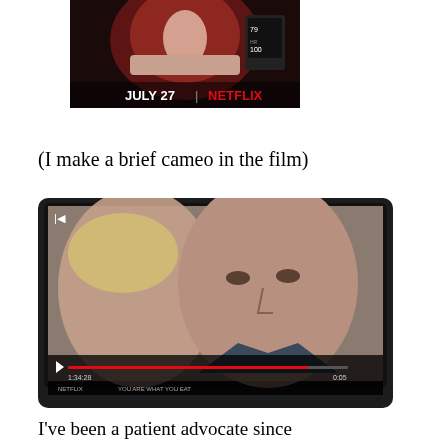[Figure (photo): Netflix promotional image showing a person lying in what appears to be a medical scanner with text reading 'JULY 27 | NETFLIX']
(I make a brief cameo in the film)
[Figure (photo): Photo of a TV screen showing a video player with two people visible on screen, a progress bar showing 1:34:28 timestamp]
I've been a patient advocate since